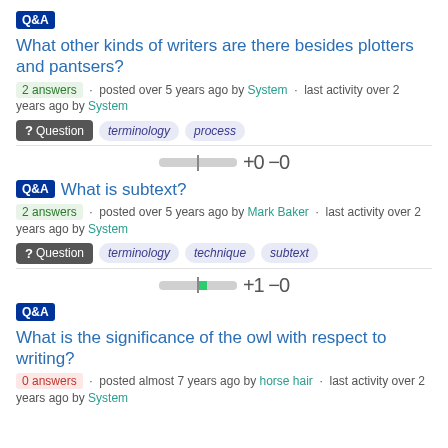Q&A What other kinds of writers are there besides plotters and pantsers?
2 answers · posted over 5 years ago by System · last activity over 2 years ago by System
? Question  terminology  process
+0 -0
Q&A What is subtext?
2 answers · posted over 5 years ago by Mark Baker · last activity over 2 years ago by System
? Question  terminology  technique  subtext
+1 -0
Q&A What is the significance of the owl with respect to writing?
0 answers · posted almost 7 years ago by horse hair · last activity over 2 years ago by System